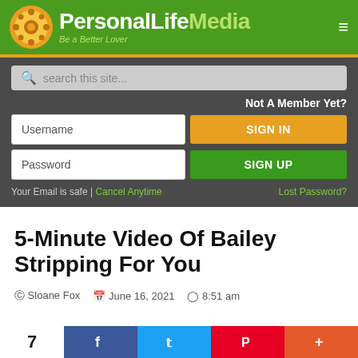[Figure (logo): PersonalLifeMedia logo with green background, orange film reel icon, white and light green text reading PersonalLifeMedia, subtitle Be a Better Lover]
search this site...
Not A Member Yet?
Username
SIGN IN
Password
SIGN UP
Your Email is safe | Cancel Anytime    Lost Password?
5-Minute Video Of Bailey Stripping For You
Sloane Fox   June 16, 2021   8:51 am
7